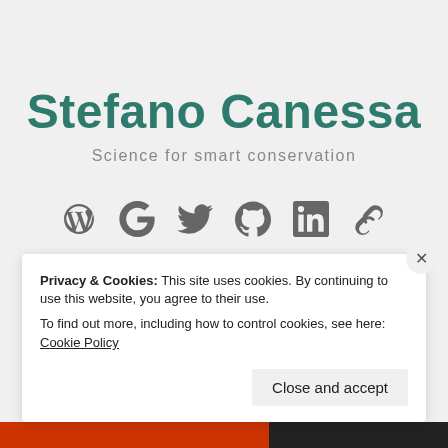Stefano Canessa
Science for smart conservation
[Figure (other): Row of six social media / link icons: WordPress, Google, Twitter, GitHub, LinkedIn, chain link]
Privacy & Cookies: This site uses cookies. By continuing to use this website, you agree to their use.
To find out more, including how to control cookies, see here: Cookie Policy
Close and accept